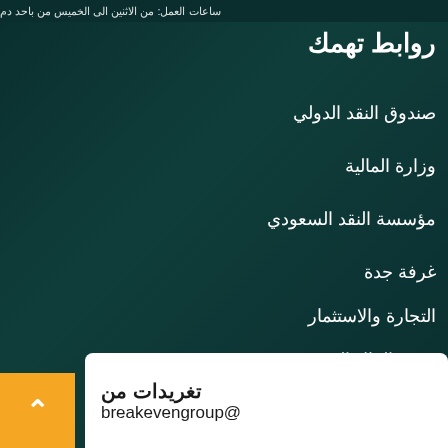ساعات العمل: من الاثنين الى الخميس من باحد دم
روابط تهمك
صندوق النقد الدولي
وزارة المالية
مؤسسة النقد السعودي
غرفة جدة
التجارة والاستثمار
سوق المال السعودي
حسابنا علي تويتر
تغريدات من
breakevengroup@